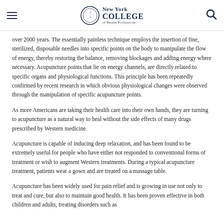New York College of Health Professions
over 2000 years. The essentially painless technique employs the insertion of fine, sterilized, disposable needles into specific points on the body to manipulate the flow of energy, thereby restoring the balance, removing blockages and adding energy where necessary. Acupuncture points that lie on energy channels, are directly related to specific organs and physiological functions. This principle has been repeatedly confirmed by recent research in which obvious physiological changes were observed through the manipulation of specific acupuncture points.
As more Americans are taking their health care into their own hands, they are turning to acupuncture as a natural way to heal without the side effects of many drugs prescribed by Western medicine.
Acupuncture is capable of inducing deep relaxation, and has been found to be extremely useful for people who have either not responded to conventional forms of treatment or wish to augment Western treatments. During a typical acupuncture treatment, patients wear a gown and are treated on a massage table.
Acupuncture has been widely used for pain relief and is growing in use not only to treat and cure, but also to maintain good health. It has been proven effective in both children and adults, treating disorders such as